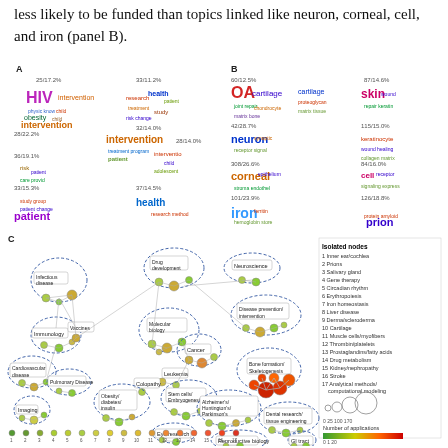less likely to be funded than topics linked like neuron, corneal, cell, and iron (panel B).
[Figure (infographic): Panel A and B: Word clouds showing topic clusters with funding statistics (count/percentage). Panel A shows topics including HIV, intervention, patient. Panel B shows topics including OA, cartilage, skin, neuron, corneal, iron, prion. Each cluster labeled with count/percentage statistics.]
[Figure (network-graph): Panel C: Network graph showing research topic clusters including Infectious disease, Immunology, Cardiovascular disease, Pulmonary Disease, Imaging, Drug development, Molecular biology, Cancer, Leukemia, Stem cells/Embryogenesis, Obesity/diabetes/insulin, Eye research, Neuroscience, Disease prevention/intervention, Bone formation/Skeletogenesis, Alzheimer's/Huntington's/Parkinson's, Dental research/tissue engineering, Reproductive biology, GI tract. Nodes colored green to red indicating number of funded applications. Node size indicates number of applications. Legend shows isolated nodes 1-17 and scale for number of applications and funded applications.]